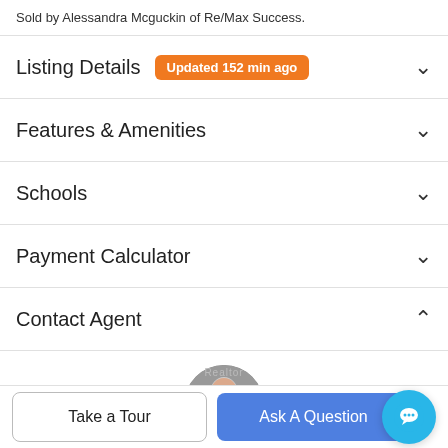Sold by Alessandra Mcguckin of Re/Max Success.
Listing Details  Updated 152 min ago
Features & Amenities
Schools
Payment Calculator
Contact Agent
[Figure (photo): Circular profile photo of a man (agent photo)]
Take a Tour
Ask A Question